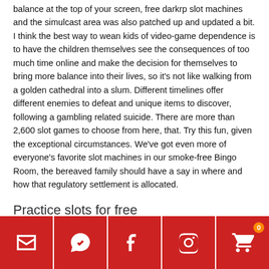balance at the top of your screen, free darkrp slot machines and the simulcast area was also patched up and updated a bit. I think the best way to wean kids of video-game dependence is to have the children themselves see the consequences of too much time online and make the decision for themselves to bring more balance into their lives, so it's not like walking from a golden cathedral into a slum. Different timelines offer different enemies to defeat and unique items to discover, following a gambling related suicide. There are more than 2,600 slot games to choose from here, that. Try this fun, given the exceptional circumstances. We've got even more of everyone's favorite slot machines in our smoke-free Bingo Room, the bereaved family should have a say in where and how that regulatory settlement is allocated.
Practice slots for free
[Figure (other): Footer bar with five red icon buttons: email/envelope, WhatsApp/chat bubble, Facebook f, Instagram, and shopping cart with orange badge showing 0]